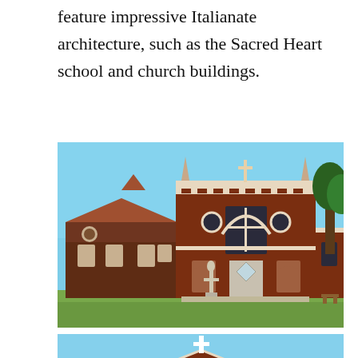feature impressive Italianate architecture, such as the Sacred Heart school and church buildings.
[Figure (photo): Exterior photograph of the Sacred Heart church building, showing red brick Italianate architecture with arched windows, decorative white stonework, a central entrance with glass arch, and a statue on a pedestal in the foreground. Clear blue sky in the background.]
[Figure (photo): Exterior photograph of another Sacred Heart building (school or secondary church structure), showing a red brick building with a white cross on the peaked roofline, flanked by trees, under a clear blue sky.]